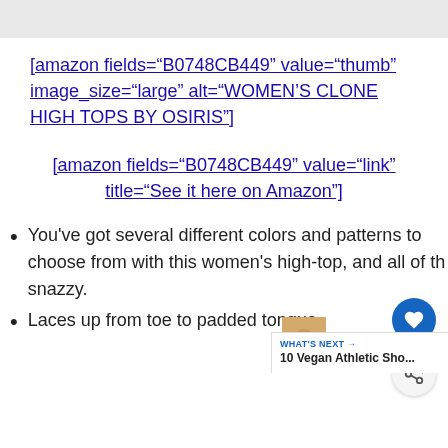[amazon fields="B0748CB449" value="thumb" image_size="large" alt="WOMEN'S CLONE HIGH TOPS BY OSIRIS"]
[amazon fields="B0748CB449" value="link" title="See it here on Amazon"]
You've got several different colors and patterns to choose from with this women's high-top, and all of th snazzy.
Laces up from toe to padded tongue